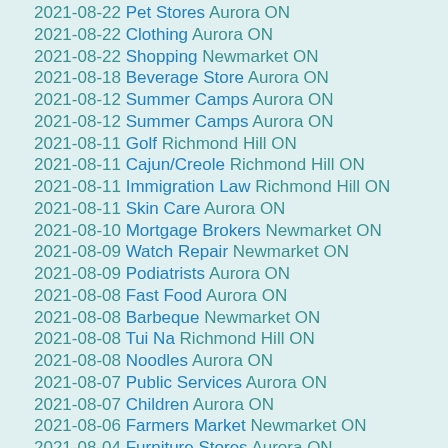2021-08-22 Pet Stores Aurora ON
2021-08-22 Clothing Aurora ON
2021-08-22 Shopping Newmarket ON
2021-08-18 Beverage Store Aurora ON
2021-08-12 Summer Camps Aurora ON
2021-08-12 Summer Camps Aurora ON
2021-08-11 Golf Richmond Hill ON
2021-08-11 Cajun/Creole Richmond Hill ON
2021-08-11 Immigration Law Richmond Hill ON
2021-08-11 Skin Care Aurora ON
2021-08-10 Mortgage Brokers Newmarket ON
2021-08-09 Watch Repair Newmarket ON
2021-08-09 Podiatrists Aurora ON
2021-08-08 Fast Food Aurora ON
2021-08-08 Barbeque Newmarket ON
2021-08-08 Tui Na Richmond Hill ON
2021-08-08 Noodles Aurora ON
2021-08-07 Public Services Aurora ON
2021-08-07 Children Aurora ON
2021-08-06 Farmers Market Newmarket ON
2021-08-04 Furniture Stores Aurora ON
2021-08-04 DUI Law Newmarket ON
2021-08-04 Lawyers Aurora ON